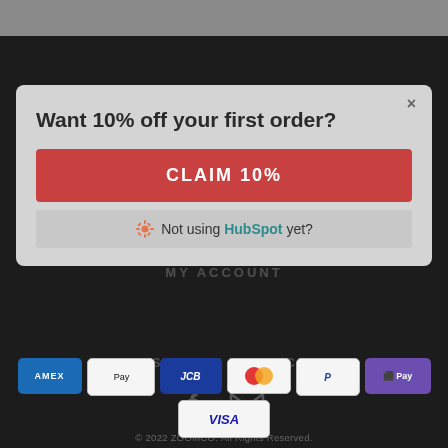[Figure (screenshot): Zoomco website screenshot showing a pop-up modal over a dark background. The modal contains a '10% off' promotional offer with a red CLAIM 10% button and HubSpot integration prompt. The footer shows social media icons, copyright, and payment method badges (Amex, Apple Pay, JCB, Mastercard, PayPal, GPay, Visa).]
Want 10% off your first order?
CLAIM 10%
Not using HubSpot yet?
© 2022 ZOOMCO. All Rights Reserved.